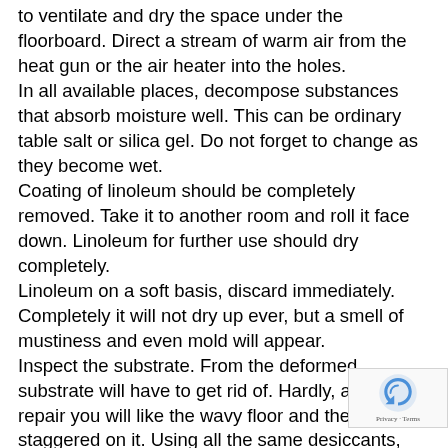to ventilate and dry the space under the floorboard. Direct a stream of warm air from the heat gun or the air heater into the holes.
In all available places, decompose substances that absorb moisture well. This can be ordinary table salt or silica gel. Do not forget to change as they become wet.
Coating of linoleum should be completely removed. Take it to another room and roll it face down. Linoleum for further use should dry completely.
Linoleum on a soft basis, discard immediately. Completely it will not dry up ever, but a smell of mustiness and even mold will appear.
Inspect the substrate. From the deformed substrate will have to get rid of. Hardly, after the repair you will like the wavy floor and the furniture staggered on it. Using all the same desiccants, the substrate should be thoroughly drained, then treated with antifungal preparations, wa until it dries again, and only then return the linoleum to...